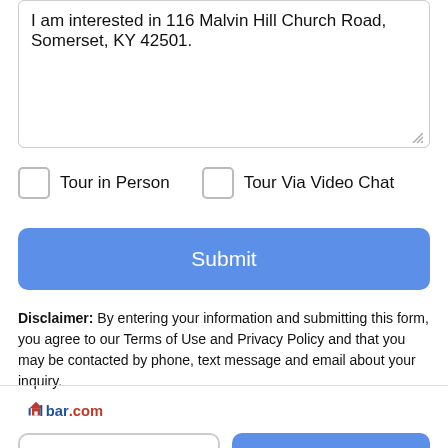I am interested in 116 Malvin Hill Church Road, Somerset, KY 42501.
Tour in Person
Tour Via Video Chat
Submit
Disclaimer: By entering your information and submitting this form, you agree to our Terms of Use and Privacy Policy and that you may be contacted by phone, text message and email about your inquiry.
[Figure (logo): lbar.com logo with house icon in red and blue]
Take a Tour
Ask A Question